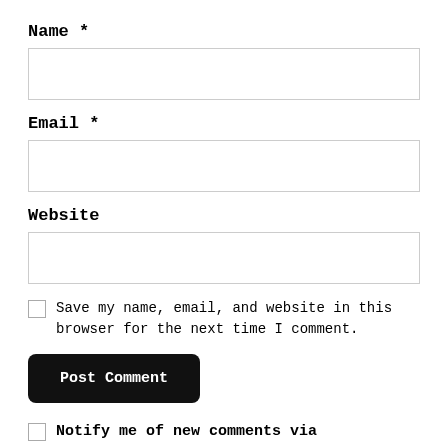Name *
[Figure (other): Empty text input field for Name]
Email *
[Figure (other): Empty text input field for Email]
Website
[Figure (other): Empty text input field for Website]
Save my name, email, and website in this browser for the next time I comment.
Post Comment
Notify me of new comments via